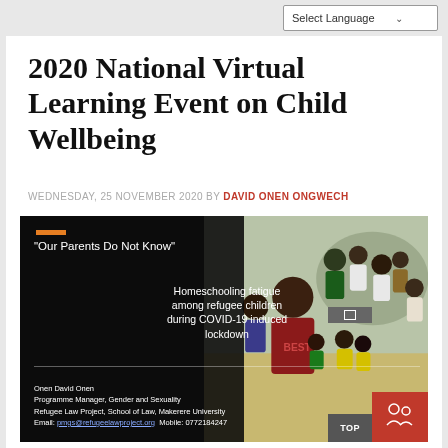Select Language
2020 National Virtual Learning Event on Child Wellbeing
WEDNESDAY, 25 NOVEMBER 2020 BY DAVID ONEN ONGWECH
[Figure (photo): Presentation slide titled 'Our Parents Do Not Know' about Homeschooling fatigue among refugee children during COVID-19 induced lockdown, by Onen David Onen, Programme Manager Gender and Sexuality, Refugee Law Project, School of Law, Makerere University. Background shows children gathered outdoors.]